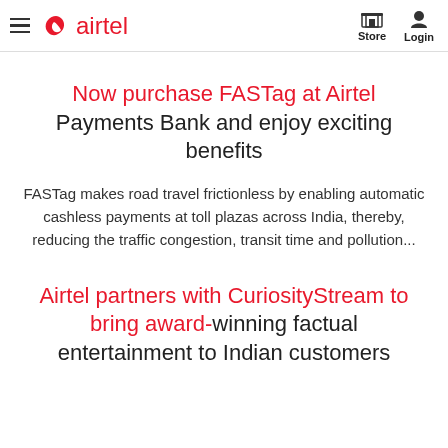airtel — Store | Login
Now purchase FASTag at Airtel Payments Bank and enjoy exciting benefits
FASTag makes road travel frictionless by enabling automatic cashless payments at toll plazas across India, thereby, reducing the traffic congestion, transit time and pollution...
Airtel partners with CuriosityStream to bring award-winning factual entertainment to Indian customers